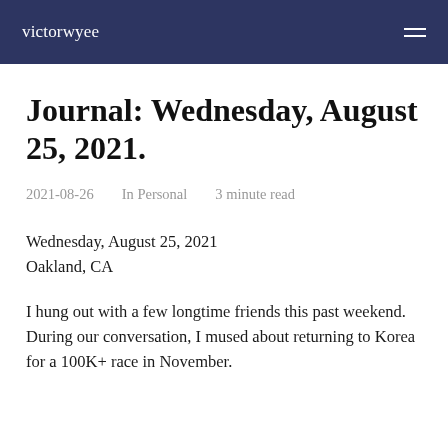victorwyee
Journal: Wednesday, August 25, 2021.
2021-08-26   In Personal   3 minute read
Wednesday, August 25, 2021
Oakland, CA
I hung out with a few longtime friends this past weekend. During our conversation, I mused about returning to Korea for a 100K+ race in November.